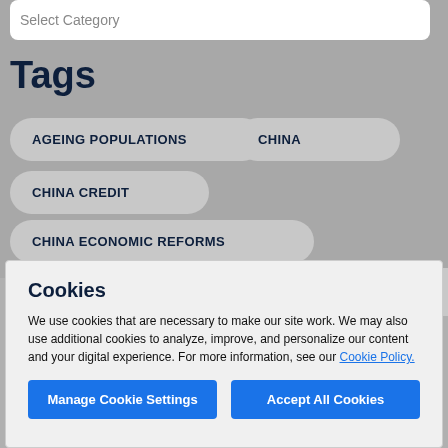[Figure (screenshot): Input field with placeholder text 'Select Category']
Tags
AGEING POPULATIONS
CHINA
CHINA CREDIT
CHINA ECONOMIC REFORMS
Cookies
We use cookies that are necessary to make our site work. We may also use additional cookies to analyze, improve, and personalize our content and your digital experience. For more information, see our Cookie Policy.
Manage Cookie Settings
Accept All Cookies